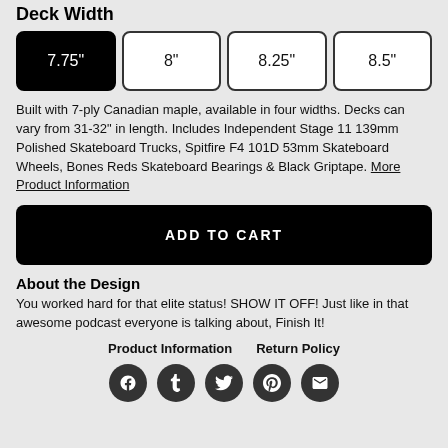Deck Width
7.75" (selected)
8"
8.25"
8.5"
Built with 7-ply Canadian maple, available in four widths. Decks can vary from 31-32" in length. Includes Independent Stage 11 139mm Polished Skateboard Trucks, Spitfire F4 101D 53mm Skateboard Wheels, Bones Reds Skateboard Bearings & Black Griptape. More Product Information
ADD TO CART
About the Design
You worked hard for that elite status! SHOW IT OFF! Just like in that awesome podcast everyone is talking about, Finish It!
Product Information   Return Policy